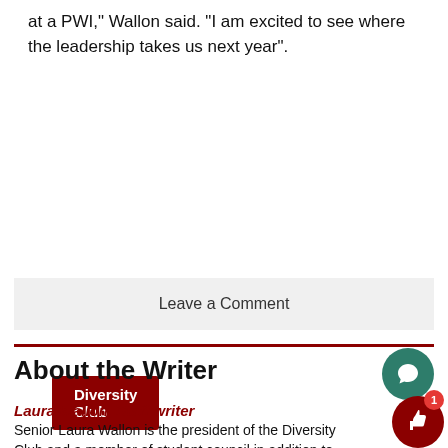at a PWI," Wallon said. "I am excited to see where the leadership takes us next year".
Diversity Club
Leave a Comment
About the Writer
Laura Wallon, Staff writer
Senior Laura Wallon is the president of the Diversity Club and a member of student council in addition to being a staff member